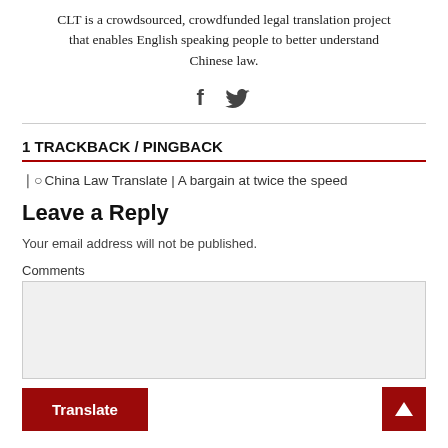CLT is a crowdsourced, crowdfunded legal translation project that enables English speaking people to better understand Chinese law.
[Figure (other): Social media icons: Facebook (f) and Twitter bird icon]
1 TRACKBACK / PINGBACK
China Law Translate | A bargain at twice the speed
Leave a Reply
Your email address will not be published.
Comments
[Figure (screenshot): Comment text area input box with a red Translate button at bottom left and a red back-to-top arrow button at bottom right]